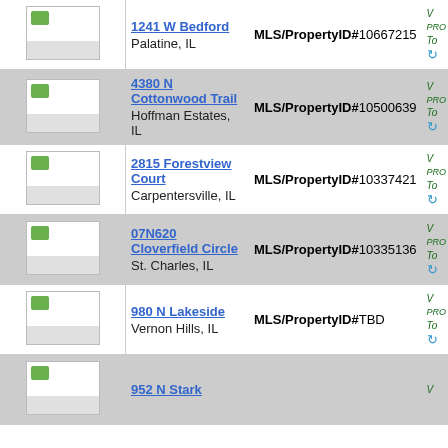| Image | Address | MLS/PropertyID | Action |
| --- | --- | --- | --- |
| [image] | 1241 W Bedford
Palatine, IL | MLS/PropertyID#10667215 | V
PRO
TO |
| [image] | 4380 N Cottonwood Trail
Hoffman Estates, IL | MLS/PropertyID#10500639 | V
PRO
TO |
| [image] | 2815 Forestview Court
Carpentersville, IL | MLS/PropertyID#10337421 | V
PRO
TO |
| [image] | 07N620 Cloverfield Circle
St. Charles, IL | MLS/PropertyID#10335136 | V
PRO
TO |
| [image] | 980 N Lakeside
Vernon Hills, IL | MLS/PropertyID#TBD | V
PRO
TO |
| [image] | 952 N Stark |  | V
PRO
TO |